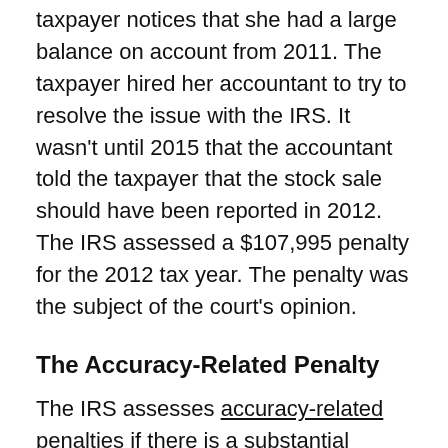taxpayer notices that she had a large balance on account from 2011. The taxpayer hired her accountant to try to resolve the issue with the IRS. It wasn't until 2015 that the accountant told the taxpayer that the stock sale should have been reported in 2012. The IRS assessed a $107,995 penalty for the 2012 tax year. The penalty was the subject of the court's opinion.
The Accuracy-Related Penalty
The IRS assesses accuracy-related penalties if there is a substantial understatement on a